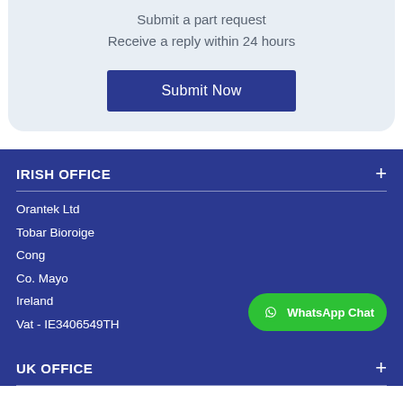Submit a part request
Receive a reply within 24 hours
[Figure (other): Submit Now button - dark blue rectangle with white text]
IRISH OFFICE
Orantek Ltd
Tobar Bioroige
Cong
Co. Mayo
Ireland
Vat - IE3406549TH
[Figure (other): WhatsApp Chat green button with WhatsApp icon]
UK OFFICE